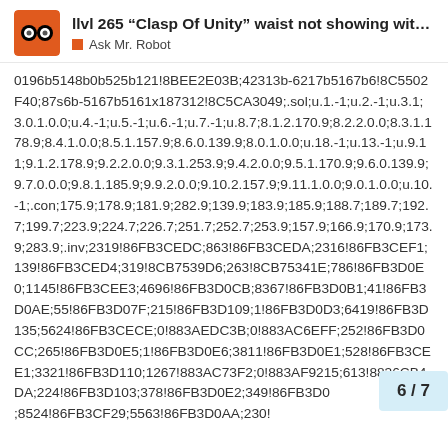llvl 265 “Clasp Of Unity” waist not showing wit...
Ask Mr. Robot
0196b5148b0b525b121!8BEE2E03B;42313b-6217b5167b6!8C5502F40;87s6b-5167b5161x187312!8C5CA3049;.sol;u.1.-1;u.2.-1;u.3.1;3.0.1.0.0;u.4.-1;u.5.-1;u.6.-1;u.7.-1;u.8.7;8.1.2.170.9;8.2.2.0.0;8.3.1.178.9;8.4.1.0.0;8.5.1.157.9;8.6.0.139.9;8.0.1.0.0;u.18.-1;u.13.-1;u.9.11;9.1.2.178.9;9.2.2.0.0;9.3.1.253.9;9.4.2.0.0;9.5.1.170.9;9.6.0.139.9;9.7.0.0.0;9.8.1.185.9;9.9.2.0.0;9.10.2.157.9;9.11.1.0.0;9.0.1.0.0;u.10.-1;.con;175.9;178.9;181.9;282.9;139.9;183.9;185.9;188.7;189.7;192.7;199.7;223.9;224.7;226.7;251.7;252.7;253.9;157.9;166.9;170.9;173.9;283.9;.inv;2319!86FB3CEDC;863!86FB3CEDA;2316!86FB3CEF1;139!86FB3CED4;319!8CB7539D6;263!8CB75341E;786!86FB3D0E0;1145!86FB3CEE3;4696!86FB3D0CB;8367!86FB3D0B1;41!86FB3D0AE;55!86FB3D07F;215!86FB3D109;1!86FB3D0D3;6419!86FB3D135;5624!86FB3CECE;0!883AEDC3B;0!883AC6EFF;252!86FB3D0CC;265!86FB3D0E5;1!86FB3D0E6;3811!86FB3D0E1;528!86FB3CEE1;3321!86FB3D110;1267!883AC73F2;0!883AF9215;613!8836CB4DA;224!86FB3D103;378!86FB3D0E2;349!86FB3D0D;8524!86FB3CF29;5563!86FB3D0AA;230!
6 / 7